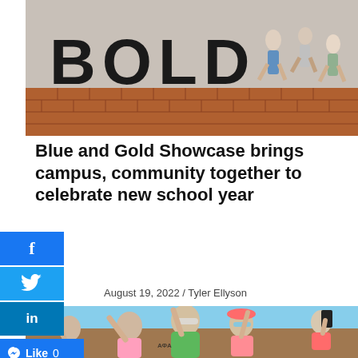[Figure (photo): Outdoor photo showing large 'BOLD' letters on a brick plaza with runners approaching in the background under blue sky]
Blue and Gold Showcase brings campus, community together to celebrate new school year
August 19, 2022 / Tyler Ellyson
[Figure (photo): Crowd of students in colorful shirts (green, pink) celebrating outdoors, pointing upward, some wearing sunglasses, holding phones, blue sky background]